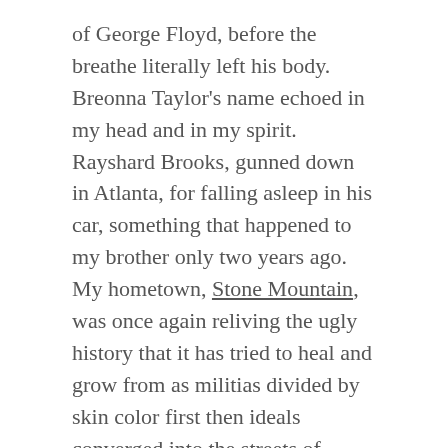of George Floyd, before the breathe literally left his body. Breonna Taylor's name echoed in my head and in my spirit. Rayshard Brooks, gunned down in Atlanta, for falling asleep in his car, something that happened to my brother only two years ago. My hometown, Stone Mountain, was once again reliving the ugly history that it has tried to heal and grow from as militias divided by skin color first then ideals converged into the streets of places that I chose to give tours to teach others about my hometown.
Yes, this country is falling a part by people who hate others for the things that cannot control: their skin color.